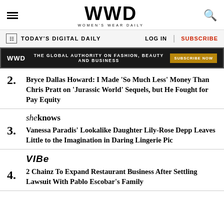WWD — WOMEN'S WEAR DAILY
TODAY'S DIGITAL DAILY | LOG IN | SUBSCRIBE
WWD — THE GLOBAL AUTHORITY ON FASHION, BEAUTY AND BUSINESS — SUBSCRIBE NOW
2. Bryce Dallas Howard: I Made 'So Much Less' Money Than Chris Pratt on 'Jurassic World' Sequels, but He Fought for Pay Equity
3. Vanessa Paradis' Lookalike Daughter Lily-Rose Depp Leaves Little to the Imagination in Daring Lingerie Pic
4. 2 Chainz To Expand Restaurant Business After Settling Lawsuit With Pablo Escobar's Family